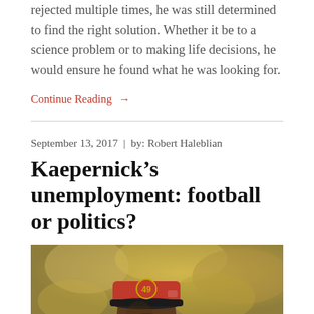rejected multiple times, he was still determined to find the right solution. Whether it be to a science problem or to making life decisions, he would ensure he found what he was looking for.
Continue Reading →
September 13, 2017  |  by: Robert Haleblian
Kaepernick's unemployment: football or politics?
[Figure (photo): Photo of Colin Kaepernick wearing a red San Francisco 49ers cap, with a blurred crowd background]